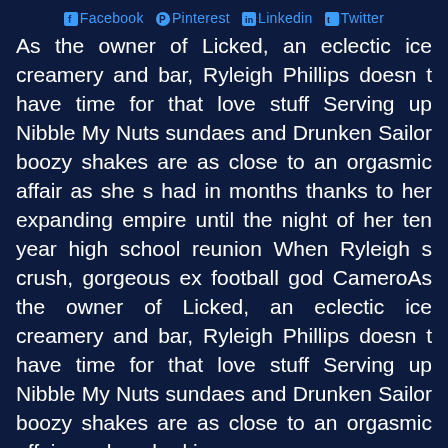Facebook Pinterest Linkedin Twitter
As the owner of Licked, an eclectic ice creamery and bar, Ryleigh Phillips doesn t have time for that love stuff Serving up Nibble My Nuts sundaes and Drunken Sailor boozy shakes are as close to an orgasmic affair as she s had in months thanks to her expanding empire until the night of her ten year high school reunion When Ryleigh s crush, gorgeous ex football god CameroAs the owner of Licked, an eclectic ice creamery and bar, Ryleigh Phillips doesn t have time for that love stuff Serving up Nibble My Nuts sundaes and Drunken Sailor boozy shakes are as close to an orgasmic affair as she s had in